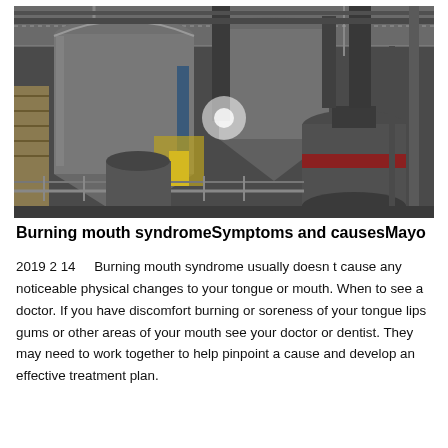[Figure (photo): Industrial facility interior showing large grey metal silos, cyclone separators, pipes, and heavy machinery including a large cylindrical grinding mill with a red band, scaffolding, and metal walkways inside a warehouse structure.]
Burning mouth syndromeSymptoms and causesMayo
2019 2 14     Burning mouth syndrome usually doesn t cause any noticeable physical changes to your tongue or mouth. When to see a doctor. If you have discomfort burning or soreness of your tongue lips gums or other areas of your mouth see your doctor or dentist. They may need to work together to help pinpoint a cause and develop an effective treatment plan.